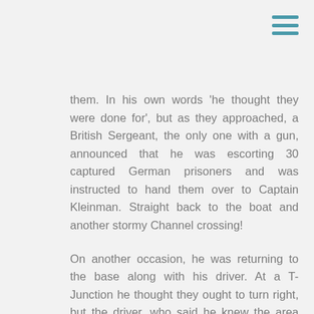them. In his own words 'he thought they were done for', but as they approached, a British Sergeant, the only one with a gun, announced that he was escorting 30 captured German prisoners and was instructed to hand them over to Captain Kleinman. Straight back to the boat and another stormy Channel crossing!
On another occasion, he was returning to the base along with his driver. At a T-Junction he thought they ought to turn right, but the driver, who said he knew the area well, said they needed to turn left. After a couple of unfamiliar miles, they were heading straight towards a formidable German Panzer tank. He said the staff car turned around so